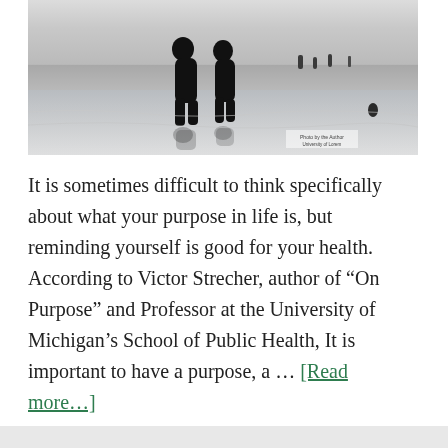[Figure (photo): Black and white photograph of two people silhouetted walking on a wet beach with reflections visible on the wet sand, other figures visible in the background distance]
It is sometimes difficult to think specifically about what your purpose in life is, but reminding yourself is good for your health. According to Victor Strecher, author of “On Purpose” and Professor at the University of Michigan’s School of Public Health, It is important to have a purpose, a … [Read more…]